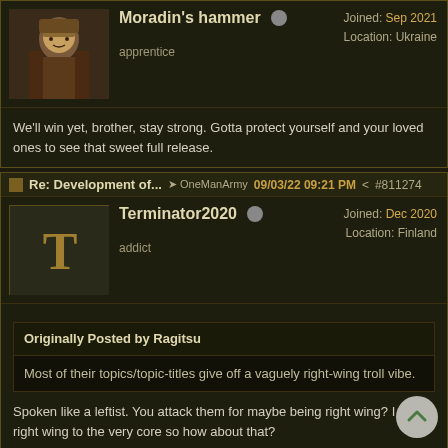Moradin's hammer — apprentice | Joined: Sep 2021 | Location: Ukraine
We'll win yet, brother, stay strong. Gotta protect yourself and your loved ones to see that sweet full release.
Re: Development of... OneManArmy 09/03/22 09:21 PM #811274
Terminator2020 — addict | Joined: Dec 2020 | Location: Finland
Originally Posted by Ragitsu
Most of their topics/topic-titles give off a vaguely right-wing troll vibe.
Spoken like a leftist. You attack them for maybe being right wing? I am right wing to the very core so how about that?

My symphaty goes really to Ukraine people and I hope they survive and negotiate sooner or later ok peace terms. Ukraine can win yes and do not get occupied fully.
Ukraine people I really hope the best for them!